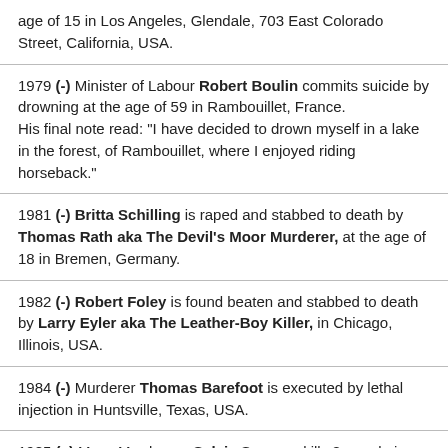age of 15 in Los Angeles, Glendale, 703 East Colorado Street, California, USA.
1979 (-) Minister of Labour Robert Boulin commits suicide by drowning at the age of 59 in Rambouillet, France. His final note read: "I have decided to drown myself in a lake in the forest, of Rambouillet, where I enjoyed riding horseback."
1981 (-) Britta Schilling is raped and stabbed to death by Thomas Rath aka The Devil's Moor Murderer, at the age of 18 in Bremen, Germany.
1982 (-) Robert Foley is found beaten and stabbed to death by Larry Eyler aka The Leather-Boy Killer, in Chicago, Illinois, USA.
1984 (-) Murderer Thomas Barefoot is executed by lethal injection in Huntsville, Texas, USA.
1985 (x) Mass Murderess Sylvia Segress kills 8 people in a shooting rage in Springfield, Pennsylvania, USA.